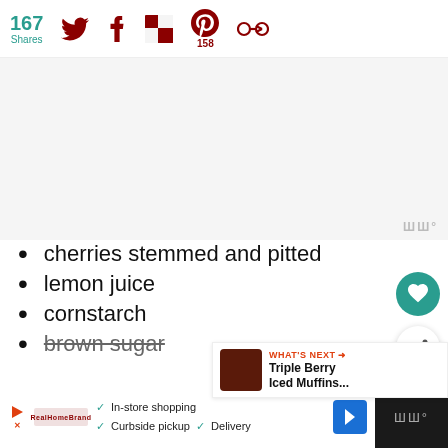167 Shares — social share bar with Twitter, Facebook, Flipboard, Pinterest (158), and another icon
[Figure (other): Advertisement/image placeholder area with gray background]
cherries stemmed and pitted
lemon juice
cornstarch
brown sugar
[Figure (other): What's Next panel showing Triple Berry Iced Muffins...]
[Figure (other): Bottom advertisement banner with In-store shopping, Curbside pickup, Delivery options and navigation icon]